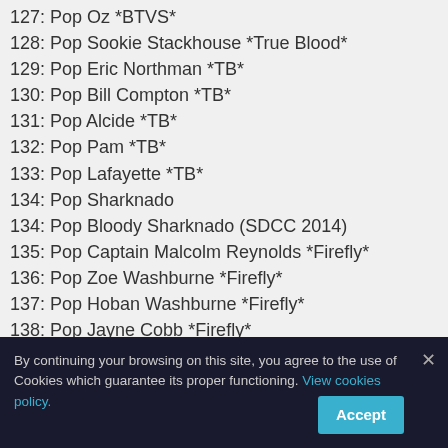127: Pop Oz *BTVS*
128: Pop Sookie Stackhouse *True Blood*
129: Pop Eric Northman *TB*
130: Pop Bill Compton *TB*
131: Pop Alcide *TB*
132: Pop Pam *TB*
133: Pop Lafayette *TB*
134: Pop Sharknado
134: Pop Bloody Sharknado (SDCC 2014)
135: Pop Captain Malcolm Reynolds *Firefly*
136: Pop Zoe Washburne *Firefly*
137: Pop Hoban Washburne *Firefly*
138: Pop Jayne Cobb *Firefly*
139: Pop Kaylee Frye *Firefly*
139: Pop Dirty Kaylee Frye (HT)
140: Pop April O"Neil *TMNT*
141: Pop Foot Soldier *TMNT*
142: Pop Bebob *TMNT*
143: Pop Rocksteady *TMNT*
144
145: Pop B&W Daryl Dixon *TWD* (WALMART)
146: Pop Hannibal Lectar
146: Pop Bloody Hannibal Lectar (SDCC 2014)
147: Pop Will Graham *Hannibal*
148: Pop Jace Crawford *Hannibal*
149: Pop Bedelia Will Graham *Hannibal*
By continuing your browsing on this site, you agree to the use of Cookies which guarantee its proper functioning. View cookies policy. Accept